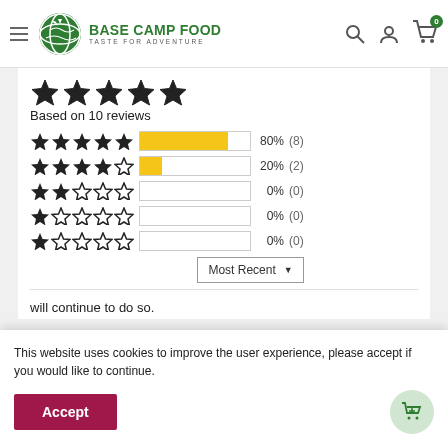[Figure (logo): Base Camp Food logo with green globe and brand name]
[Figure (infographic): Star rating summary: 4.8/5 based on 10 reviews, with bar chart breakdown: 5-star 80%(8), 4-star 20%(2), 3-star 0%(0), 2-star 0%(0), 1-star 0%(0)]
Based on 10 reviews
Most Recent ▼
This website uses cookies to improve the user experience, please accept if you would like to continue.
Accept
will continue to do so.